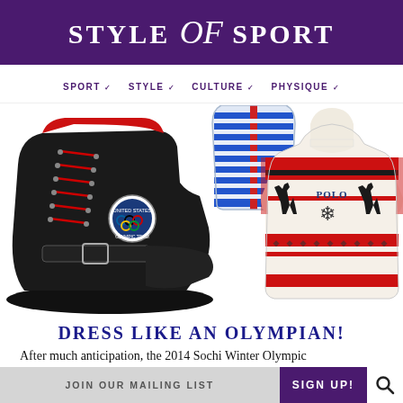STYLE of SPORT
SPORT ∨  STYLE ∨  CULTURE ∨  PHYSIQUE ∨
[Figure (photo): Three product photos: a black leather Olympic hiking boot with red laces and Team USA patch, a blue and white striped vest/jacket, and a cream Polo Ralph Lauren fair isle sweater with reindeer pattern]
DRESS LIKE AN OLYMPIAN!
After much anticipation, the 2014 Sochi Winter Olympic
JOIN OUR MAILING LIST  SIGN UP!